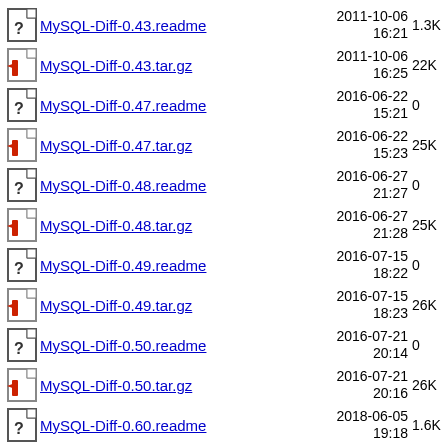MySQL-Diff-0.43.readme  2011-10-06 16:21  1.3K
MySQL-Diff-0.43.tar.gz  2011-10-06 16:25  22K
MySQL-Diff-0.47.readme  2016-06-22 15:21  0
MySQL-Diff-0.47.tar.gz  2016-06-22 15:23  25K
MySQL-Diff-0.48.readme  2016-06-27 21:27  0
MySQL-Diff-0.48.tar.gz  2016-06-27 21:28  25K
MySQL-Diff-0.49.readme  2016-07-15 18:22  0
MySQL-Diff-0.49.tar.gz  2016-07-15 18:23  26K
MySQL-Diff-0.50.readme  2016-07-21 20:14  0
MySQL-Diff-0.50.tar.gz  2016-07-21 20:16  26K
MySQL-Diff-0.60.readme  2018-06-05 19:18  1.6K
MySQL-Diff-0.60.tar.gz  2018-06-05  (partial)